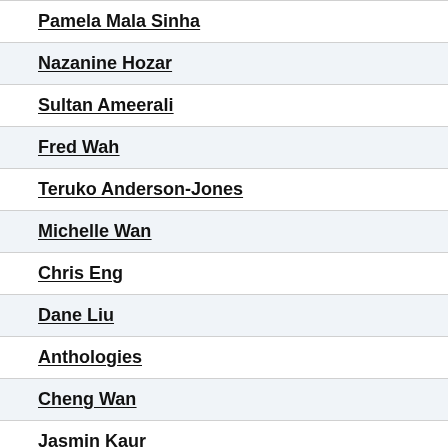Pamela Mala Sinha
Nazanine Hozar
Sultan Ameerali
Fred Wah
Teruko Anderson-Jones
Michelle Wan
Chris Eng
Dane Liu
Anthologies
Cheng Wan
Jasmin Kaur